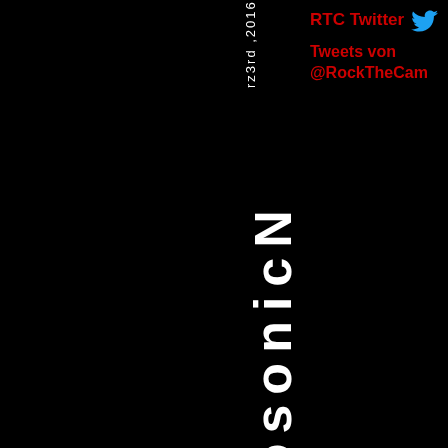RTC Twitter
Tweets von @RockTheCam
rz3rd ,2016 EurosonicN